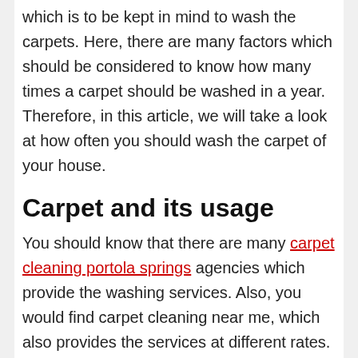which is to be kept in mind to wash the carpets. Here, there are many factors which should be considered to know how many times a carpet should be washed in a year. Therefore, in this article, we will take a look at how often you should wash the carpet of your house.
Carpet and its usage
You should know that there are many carpet cleaning portola springs agencies which provide the washing services. Also, you would find carpet cleaning near me, which also provides the services at different rates. You should know that the cost of washing Carpet holds significant